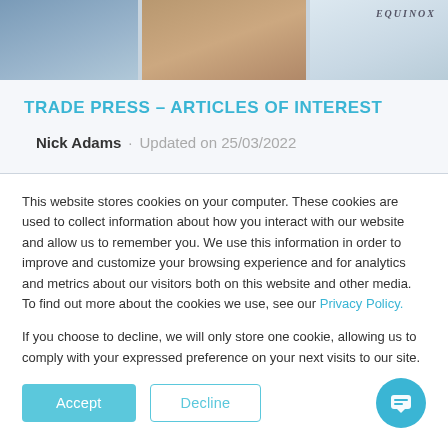[Figure (photo): Top banner with street/billboard photos showing urban scenes and an Equinox sign]
TRADE PRESS – ARTICLES OF INTEREST
Nick Adams · Updated on 25/03/2022
This website stores cookies on your computer. These cookies are used to collect information about how you interact with our website and allow us to remember you. We use this information in order to improve and customize your browsing experience and for analytics and metrics about our visitors both on this website and other media. To find out more about the cookies we use, see our Privacy Policy.
If you choose to decline, we will only store one cookie, allowing us to comply with your expressed preference on your next visits to our site.